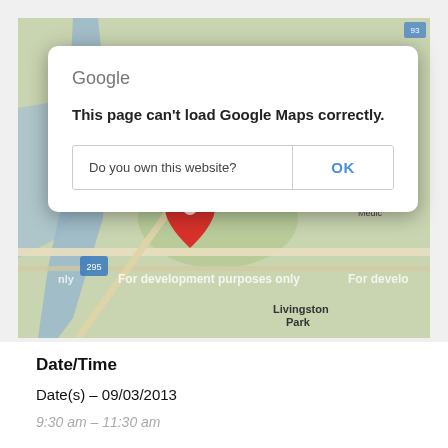[Figure (screenshot): Google Maps error dialog overlay on a partially visible street map. The dialog reads 'Google' at top, then 'This page can't load Google Maps correctly.' with a row containing 'Do you own this website?' on the left and an 'OK' button on the right. The map underneath shows a location pin, waterways, streets, and labels including 'Mr. Mac's Macaroni and Cheese', 'Manchester Medical', 'Livingston Park', 'For development purposes only'.]
Date/Time
Date(s) – 09/03/2013
9:30 am – 11:30 am